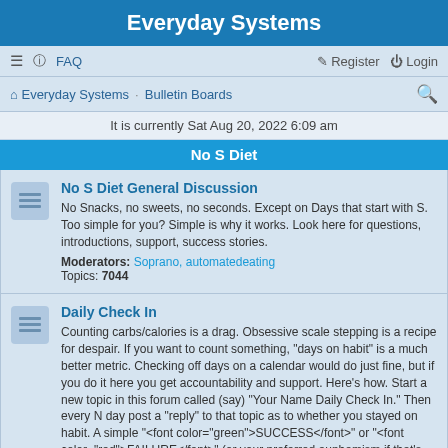Everyday Systems
≡  FAQ    Register  Login
Everyday Systems · Bulletin Boards
It is currently Sat Aug 20, 2022 6:09 am
No S Diet
No S Diet General Discussion
No Snacks, no sweets, no seconds. Except on Days that start with S. Too simple for you? Simple is why it works. Look here for questions, introductions, support, success stories.
Moderators: Soprano, automatedeating
Topics: 7044
Daily Check In
Counting carbs/calories is a drag. Obsessive scale stepping is a recipe for despair. If you want to count something, "days on habit" is a much better metric. Checking off days on a calendar would do just fine, but if you do it here you get accountability and support. Here's how. Start a new topic in this forum called (say) "Your Name Daily Check In." Then every N day post a "reply" to that topic as to whether you stayed on habit. A simple "<font color="green">SUCCESS</font>" or "<font color="red">FAILURE</font>" (or your preferred euphemism if that's too harsh) is sufficient, but obviously you're welcome to write more if you want. On S-days just register that you're taking an S-day. You don't have to do this forever, just until you're confident you've built the habit. Feel free to check in weekly or monthly or sporadically instead of daily. Feel free also to track other habits besides No-s (I'm keeping this forum under No-s because that's what the vast majority are using it for). See also my <a href="/habitcal/">HabitCal</a> tool for another more formal (and perhaps complementary) way to track habits.